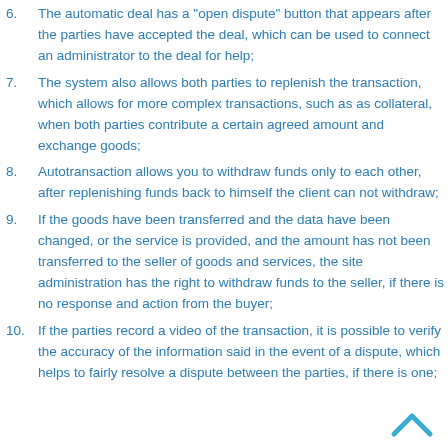6. The automatic deal has a "open dispute" button that appears after the parties have accepted the deal, which can be used to connect an administrator to the deal for help;
7. The system also allows both parties to replenish the transaction, which allows for more complex transactions, such as as collateral, when both parties contribute a certain agreed amount and exchange goods;
8. Autotransaction allows you to withdraw funds only to each other, after replenishing funds back to himself the client can not withdraw;
9. If the goods have been transferred and the data have been changed, or the service is provided, and the amount has not been transferred to the seller of goods and services, the site administration has the right to withdraw funds to the seller, if there is no response and action from the buyer;
10. If the parties record a video of the transaction, it is possible to verify the accuracy of the information said in the event of a dispute, which helps to fairly resolve a dispute between the parties, if there is one;